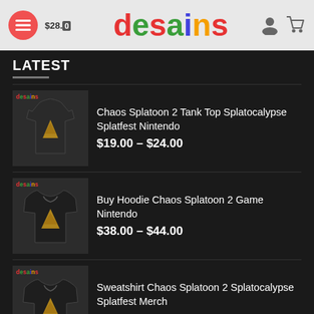desains — $28.00 menu header with user and cart icons
LATEST
Chaos Splatoon 2 Tank Top Splatocalypse Splatfest Nintendo — $19.00 – $24.00
Buy Hoodie Chaos Splatoon 2 Game Nintendo — $38.00 – $44.00
Sweatshirt Chaos Splatoon 2 Splatocalypse Splatfest Merch — $29.00 – $34.00
BRANDS